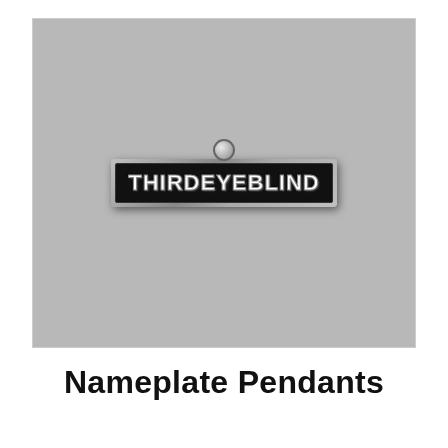[Figure (photo): A silver nameplate pendant with a small bail/loop at the top, featuring the text 'THIRDEYEBLIND' in white bold letters on a black rectangular plate with silver border, photographed against a light gray background.]
Nameplate Pendants